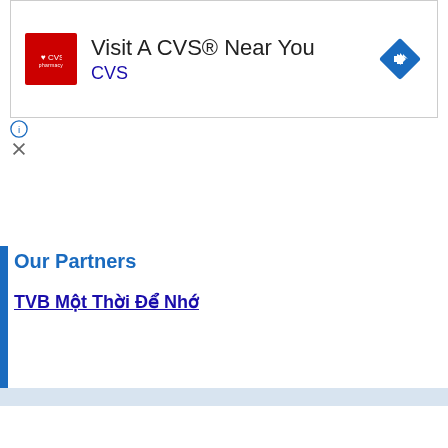[Figure (screenshot): CVS Pharmacy advertisement banner showing CVS logo, 'Visit A CVS® Near You' text, 'CVS' link in blue, and a blue diamond navigation arrow icon on the right]
Our Partners
TVB Một Thời Để Nhớ